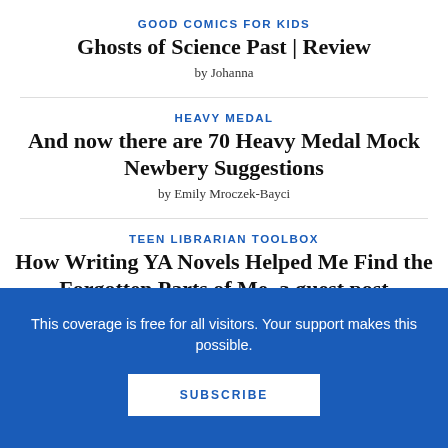GOOD COMICS FOR KIDS
Ghosts of Science Past | Review
by Johanna
HEAVY MEDAL
And now there are 70 Heavy Medal Mock Newbery Suggestions
by Emily Mroczek-Bayci
TEEN LIBRARIAN TOOLBOX
How Writing YA Novels Helped Me Find the Forgotten Parts of Me, a guest post
This coverage is free for all visitors. Your support makes this possible.
SUBSCRIBE